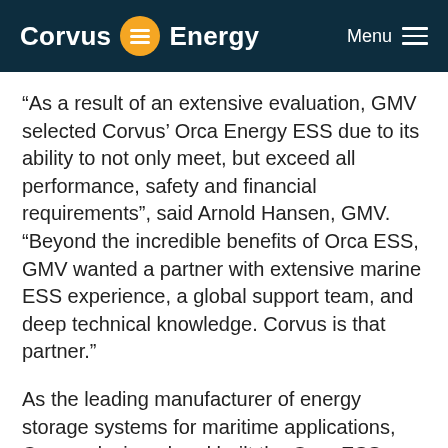Corvus Energy
“As a result of an extensive evaluation, GMV selected Corvus’ Orca Energy ESS due to its ability to not only meet, but exceed all performance, safety and financial requirements”, said Arnold Hansen, GMV. “Beyond the incredible benefits of Orca ESS, GMV wanted a partner with extensive marine ESS experience, a global support team, and deep technical knowledge. Corvus is that partner.”
As the leading manufacturer of energy storage systems for maritime applications, Corvus designed and built the Orca ESS solutions portfolio based on the experience from 50+ vessels utilizing a Corvus ESS, totaling over 35MWh and 1 million operating hours. Rather than a single product, the Orca ESS